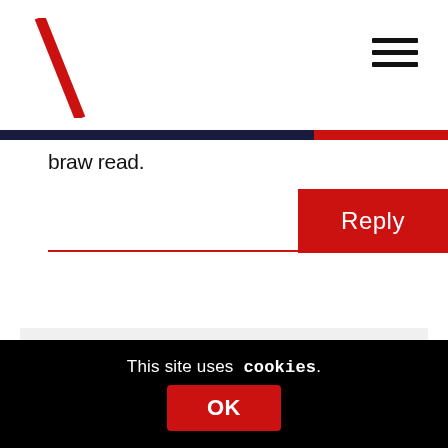braw read.
Reply
Michael Stuart Green
6th June 2015 at 5:53 pm
Someone I once taught, whose home was Iverurie, maintained that if he spoke his native Doric slowly enough he could be understood perfectly in Holland.
This site uses cookies.
OK